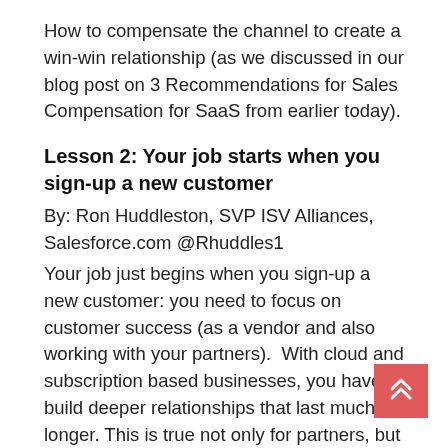How to compensate the channel to create a win-win relationship (as we discussed in our blog post on 3 Recommendations for Sales Compensation for SaaS from earlier today).
Lesson 2: Your job starts when you sign-up a new customer
By: Ron Huddleston, SVP ISV Alliances, Salesforce.com @Rhuddles1
Your job just begins when you sign-up a new customer: you need to focus on customer success (as a vendor and also working with your partners).  With cloud and subscription based businesses, you have to build deeper relationships that last much longer. This is true not only for partners, but also for your relationships with your customers. Also in this context: don't